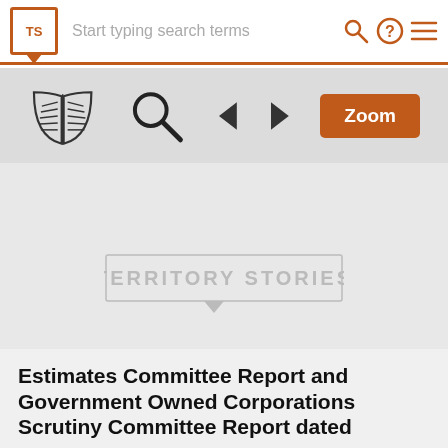Start typing search terms
[Figure (screenshot): Toolbar with book icon, search magnifier, left/right navigation arrows, and Zoom button]
[Figure (logo): Territory Stories watermark logo in gray]
Estimates Committee Report and Government Owned Corporations Scrutiny Committee Report dated